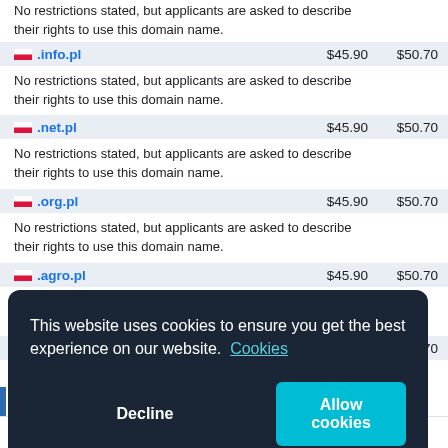| Domain | Price1 | Price2 |
| --- | --- | --- |
| .info.pl | $45.90 | $50.70 |
| No restrictions stated, but applicants are asked to describe their rights to use this domain name. |  |  |
| .net.pl | $45.90 | $50.70 |
| No restrictions stated, but applicants are asked to describe their rights to use this domain name. |  |  |
| .org.pl | $45.90 | $50.70 |
| No restrictions stated, but applicants are asked to describe their rights to use this domain name. |  |  |
| .agro.pl | $45.90 | $50.70 |
| No restrictions stated, but applicants are asked to describe their rights to use this domain name. |  |  |
| .aid.pl | $45.90 | $50.70 |
| No restrictions stated, but applicants are asked to describe their rights to use this domain name. |  |  |
This website uses cookies to ensure you get the best experience on our website. Cookies
Decline
Allow cookies
their rights to use this domain name.